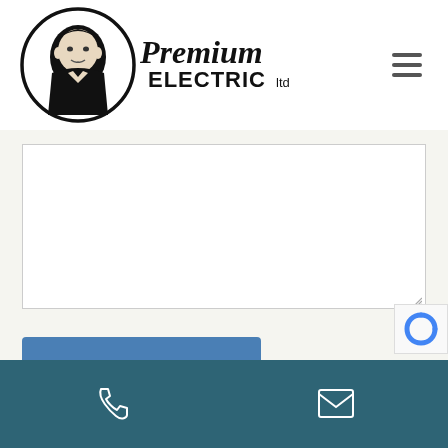[Figure (logo): Premium Electric Ltd logo with circular illustration of Nikola Tesla and stylized script text]
[Figure (other): Hamburger menu icon (three horizontal lines) in top right corner]
[Figure (screenshot): Empty white textarea/message input box with resize handle in bottom-right corner]
Send a Message
[Figure (other): reCAPTCHA badge partially visible in bottom-right]
Phone icon and Email/envelope icon in teal footer bar